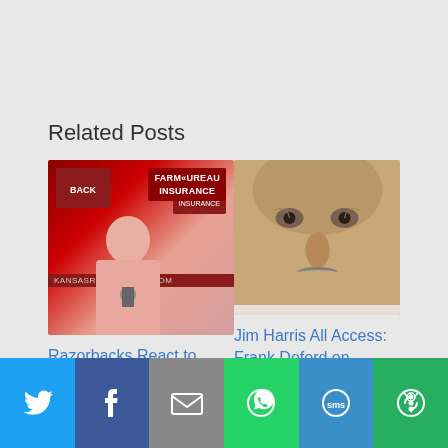Related Posts
[Figure (photo): Arkansas Razorbacks press conference photo with Farm Bureau Insurance banner, coach speaking at microphone]
Razorbacks React to Former Coaches' Comments
[Figure (photo): Close-up portrait of Jim Harris/Frank Deford, older man with mustache]
Jim Harris All Access: Frank Deford on Sports Hypocrisy; SEC Power Poll
[Figure (infographic): Social media share bar with Twitter, Facebook, Email, WhatsApp, SMS, and More buttons]